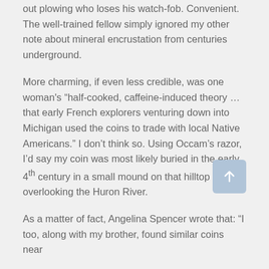out plowing who loses his watch-fob. Convenient. The well-trained fellow simply ignored my other note about mineral encrustation from centuries underground.
More charming, if even less credible, was one woman's "half-cooked, caffeine-induced theory … that early French explorers venturing down into Michigan used the coins to trade with local Native Americans." I don't think so. Using Occam's razor, I'd say my coin was most likely buried in the early 4th century in a small mound on that hilltop overlooking the Huron River.
As a matter of fact, Angelina Spencer wrote that: "I too, along with my brother, found similar coins near